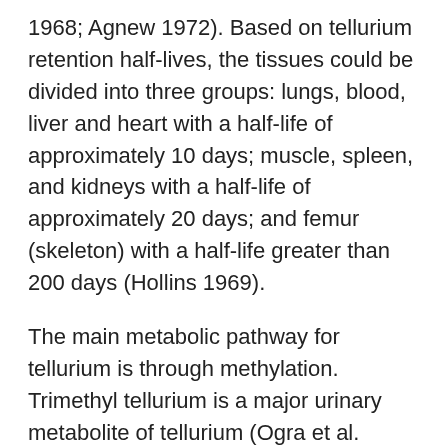1968; Agnew 1972). Based on tellurium retention half-lives, the tissues could be divided into three groups: lungs, blood, liver and heart with a half-life of approximately 10 days; muscle, spleen, and kidneys with a half-life of approximately 20 days; and femur (skeleton) with a half-life greater than 200 days (Hollins 1969).
The main metabolic pathway for tellurium is through methylation. Trimethyl tellurium is a major urinary metabolite of tellurium (Ogra et al. 2007; Kobayashi and Ogra 2009).
Elimination is mainly dependent on the